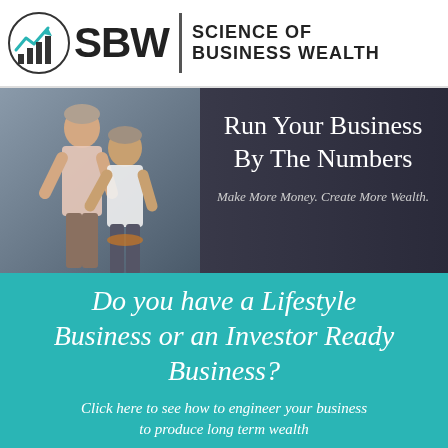[Figure (logo): SBW Science of Business Wealth logo with circular chart icon, bold SBW text, vertical divider, and SCIENCE OF BUSINESS WEALTH text]
[Figure (photo): Two men in business casual attire posing with dark gradient background. Text overlay: 'Run Your Business By The Numbers' and 'Make More Money. Create More Wealth.']
Do you have a Lifestyle Business or an Investor Ready Business?
Click here to see how to engineer your business to produce long term wealth